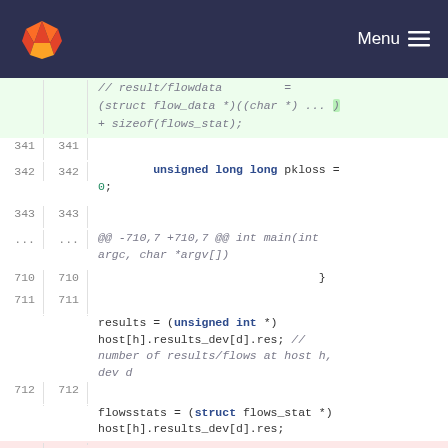[Figure (screenshot): GitLab navigation bar with logo and menu button]
Code diff view showing C code with line numbers. Lines 341-343 (blank/unchanged), line 342 showing 'unsigned long long pkloss = 0;', diff hunk header '@@ -710,7 +710,7 @@ int main(int argc, char *argv[])', lines 710-711 (blank), line 711 showing 'results = (unsigned int *) host[h].results_dev[d].res; // number of results/flows at host h, dev d', line 712 showing 'flowsstats = (struct flows_stat *) host[h].results_dev[d].res;', line 713 (deleted, red background) showing '-', and start of 'flowdata = (struct flow_data *)'